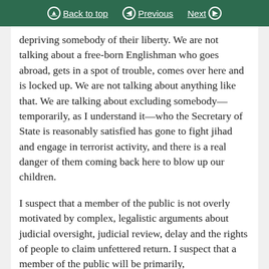Back to top | Previous | Next
depriving somebody of their liberty. We are not talking about a free-born Englishman who goes abroad, gets in a spot of trouble, comes over here and is locked up. We are not talking about anything like that. We are talking about excluding somebody—temporarily, as I understand it—who the Secretary of State is reasonably satisfied has gone to fight jihad and engage in terrorist activity, and there is a real danger of them coming back here to blow up our children.
I suspect that a member of the public is not overly motivated by complex, legalistic arguments about judicial oversight, judicial review, delay and the rights of people to claim unfettered return. I suspect that a member of the public will be primarily,